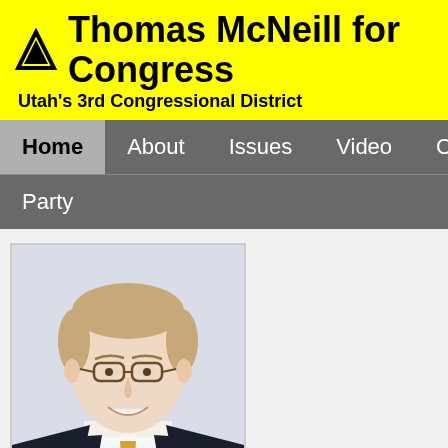Thomas McNeill for Congress — Utah's 3rd Congressional District
Home
About
Issues
Video
Contribute
Party
[Figure (photo): Professional headshot of Thomas McNeill, a middle-aged man with light brown hair and glasses, wearing a dark suit, white shirt, and gold tie with an American flag pin on the lapel, smiling at the camera against a light background.]